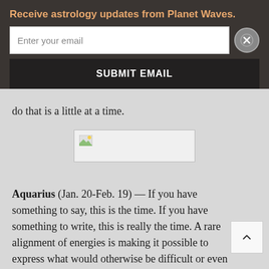Receive astrology updates from Planet Waves.
Enter your email
SUBMIT EMAIL
do that is a little at a time.
[Figure (other): Broken/unloaded image placeholder]
Aquarius (Jan. 20-Feb. 19) — If you have something to say, this is the time. If you have something to write, this is really the time. A rare alignment of energies is making it possible to express what would otherwise be difficult or even